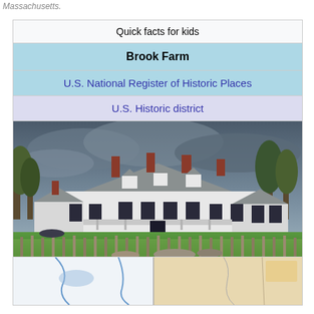Massachusetts.
| Quick facts for kids |
| --- |
| Brook Farm |
| U.S. National Register of Historic Places |
| U.S. Historic district |
| [photo of farm building] |
| [map] |
[Figure (photo): Photograph of a large white colonial-style farmhouse with multiple chimneys and a wraparound porch, set against a dramatic cloudy sky, with a green lawn and wooden fence posts in the foreground.]
[Figure (map): Partial map showing state or regional boundaries with blue lines indicating waterways or borders, tan shading for land area, and white areas.]